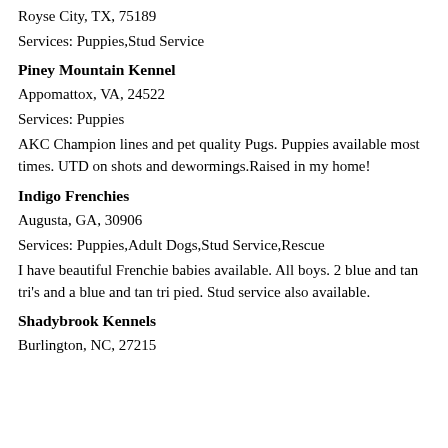Royse City, TX, 75189
Services: Puppies,Stud Service
Piney Mountain Kennel
Appomattox, VA, 24522
Services: Puppies
AKC Champion lines and pet quality Pugs. Puppies available most times. UTD on shots and dewormings.Raised in my home!
Indigo Frenchies
Augusta, GA, 30906
Services: Puppies,Adult Dogs,Stud Service,Rescue
I have beautiful Frenchie babies available. All boys. 2 blue and tan tri's and a blue and tan tri pied. Stud service also available.
Shadybrook Kennels
Burlington, NC, 27215